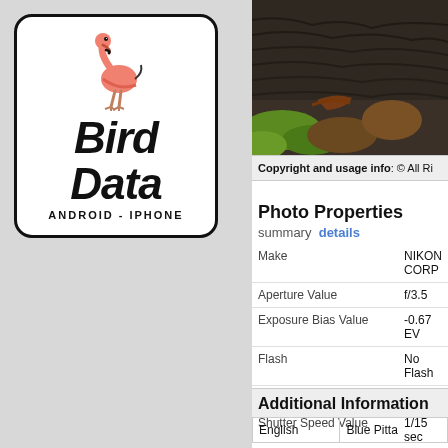[Figure (logo): Bird Data app logo with flamingo illustration and text 'Bird Data ANDROID - IPHONE' in a rounded rectangle border]
[Figure (photo): Close-up nature photograph showing textured dark feathers or foliage with green and brown tones]
Copyright and usage info: © All Ri
Photo Properties
summary  details
| Make | NIKON CORP |
| Aperture Value | f/3.5 |
| Exposure Bias Value | -0.67 EV |
| Flash | No Flash |
| ISO | 200 |
| Shutter Speed Value | 1/15 sec |
Additional Information
| English | Blue Pitta |